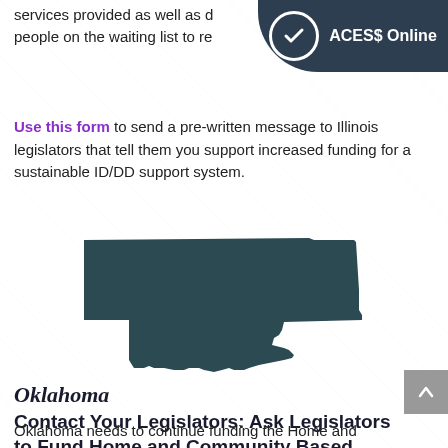services provided as well as d… people on the waiting list to re…
[Figure (logo): ACES$ Online badge with checkmark circle on dark teal rounded rectangle]
Use this form to send a pre-written message to Illinois legislators that tell them you support increased funding for a sustainable ID/DD support system.
[Figure (map): Silhouette map of the state of Oklahoma in dark teal/slate color]
Oklahoma
Contact Your Legislators: Ask Legislators to Fund Home and Community Based Services
Oklahoma needs to continue funding the Home and Community Based Services people are receiving.